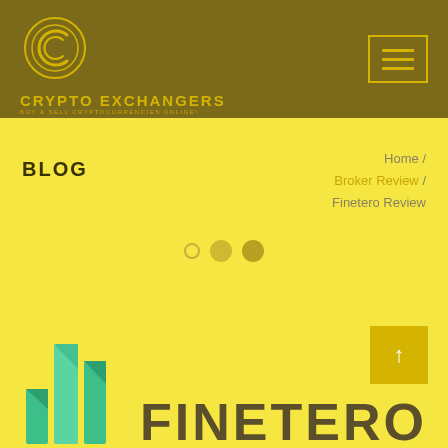[Figure (logo): Crypto Exchangers logo with circular C icon in gold on dark olive background, with text CRYPTO EXCHANGERS and tagline BUY & SELL CRYPTOCURRENCIES ONLINE!]
[Figure (other): Hamburger menu button (three horizontal lines) in gold border square on dark olive background]
BLOG
Home / Broker Review / Finetero Review
[Figure (other): Three dots navigation indicator: small outline circle, larger filled gold circle, medium filled darker gold circle]
[Figure (other): Number 1 in a golden yellow square box]
[Figure (logo): Finetero logo: teal/green building column bars icon on left, bold dark text FINETERO on right, on yellow background]